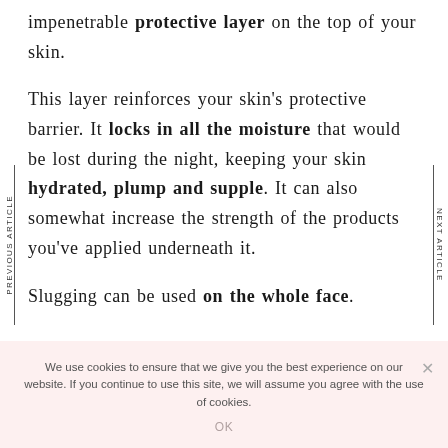impenetrable protective layer on the top of your skin.
This layer reinforces your skin's protective barrier. It locks in all the moisture that would be lost during the night, keeping your skin hydrated, plump and supple. It can also somewhat increase the strength of the products you've applied underneath it.
Slugging can be used on the whole face.
We use cookies to ensure that we give you the best experience on our website. If you continue to use this site, we will assume you agree with the use of cookies.